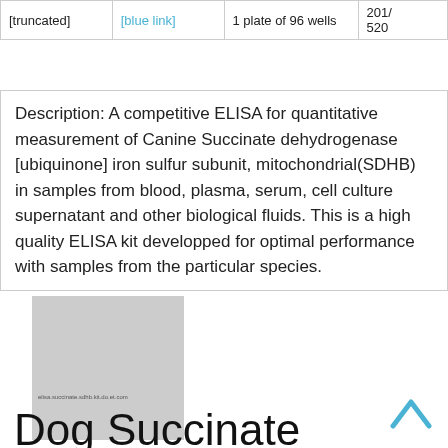| [truncated] | [blue link] | 1 plate of 96 wells | 201/ 520 |
Description: A competitive ELISA for quantitative measurement of Canine Succinate dehydrogenase [ubiquinone] iron sulfur subunit, mitochondrial(SDHB) in samples from blood, plasma, serum, cell culture supernatant and other biological fluids. This is a high quality ELISA kit developped for optimal performance with samples from the particular species.
[Figure (photo): Product image placeholder - grey rectangle with small text overlay]
Dog Succinate